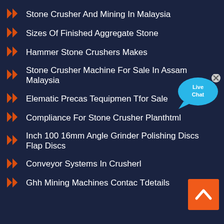Stone Crusher And Mining In Malaysia
Sizes Of Finished Aggregate Stone
Hammer Stone Crushers Makes
Stone Crusher Machine For Sale In Assam Malaysia
Elematic Precas Tequipmen Tfor Sale
Compliance For Stone Crusher Planthtml
Inch 100 16mm Angle Grinder Polishing Discs Flap Discs
Conveyor Systems In Crusherl
Ghh Mining Machines Contac Tdetails